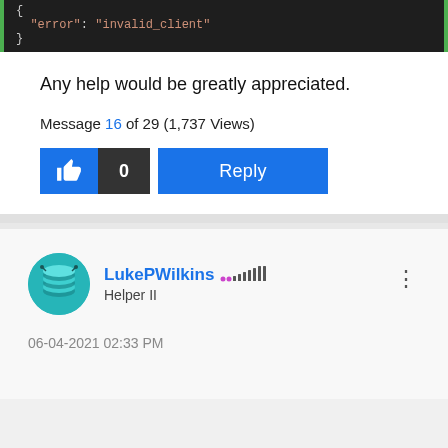[Figure (screenshot): Code snippet showing JSON error: "error": "invalid_client" with green border indicators]
Any help would be greatly appreciated.
Message 16 of 29 (1,737 Views)
[Figure (screenshot): Like button with thumbs up icon showing count 0 and a Reply button, both in blue]
[Figure (screenshot): User avatar for LukePWilkins - teal circular avatar with coin/chip icon]
LukePWilkins Helper II
06-04-2021 02:33 PM